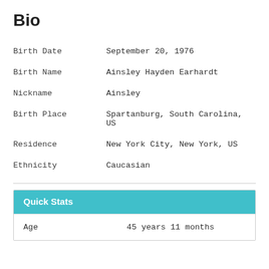Bio
| Birth Date | September 20, 1976 |
| Birth Name | Ainsley Hayden Earhardt |
| Nickname | Ainsley |
| Birth Place | Spartanburg, South Carolina, US |
| Residence | New York City, New York, US |
| Ethnicity | Caucasian |
Quick Stats
| Age | 45 years 11 months |
| --- | --- |